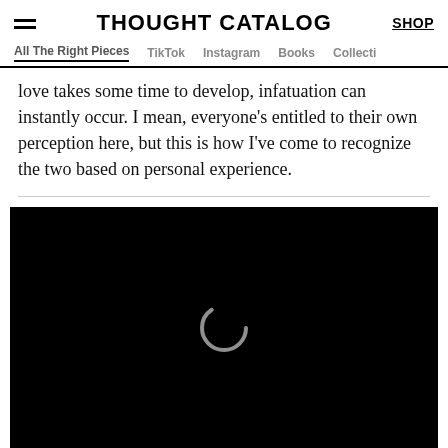THOUGHT CATALOG | SHOP
All The Right Pieces  TikTok  Instagram  Books  Collecti
love takes some time to develop, infatuation can instantly occur. I mean, everyone’s entitled to their own perception here, but this is how I’ve come to recognize the two based on personal experience.
[Figure (screenshot): Embedded video player showing a black screen with a loading spinner, progress bar, and controls showing 00:00 / 35:12 with mute, grid, and fullscreen buttons.]